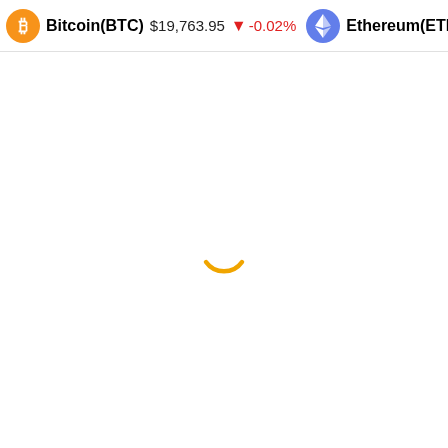Bitcoin(BTC) $19,763.95 -0.02% | Ethereum(ETH) $1,565.3
[Figure (other): Loading spinner — a partial orange arc indicating a loading state, centered on a white page background below the crypto ticker bar.]